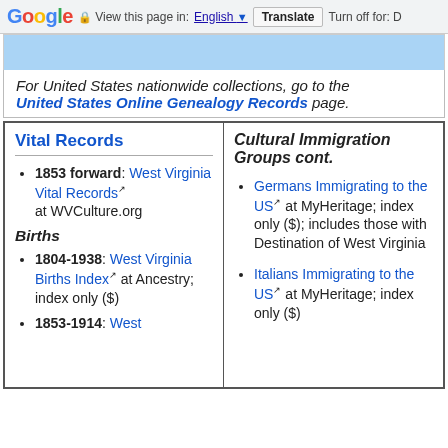Google | View this page in: English | Translate | Turn off for: D
[Figure (screenshot): Blue banner/image strip at the top of the genealogy page]
For United States nationwide collections, go to the United States Online Genealogy Records page.
Vital Records
Cultural Immigration Groups cont.
1853 forward: West Virginia Vital Records at WVCulture.org
Germans Immigrating to the US at MyHeritage; index only ($); includes those with Destination of West Virginia
Births
1804-1938: West Virginia Births Index at Ancestry; index only ($)
Italians Immigrating to the US at MyHeritage; index only ($)
1853-1914: West